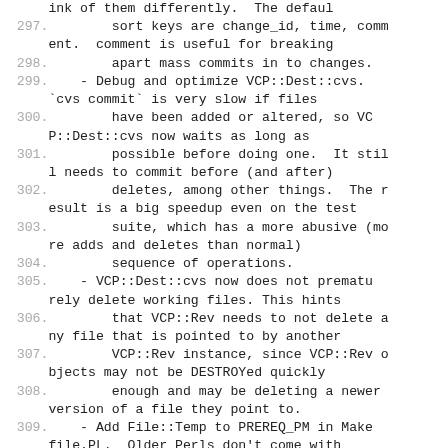297-310: Source code/changelog lines showing sort keys, VCP::Dest::cvs debug/optimize notes, file deletion logic, and PREREQ_PM addition.